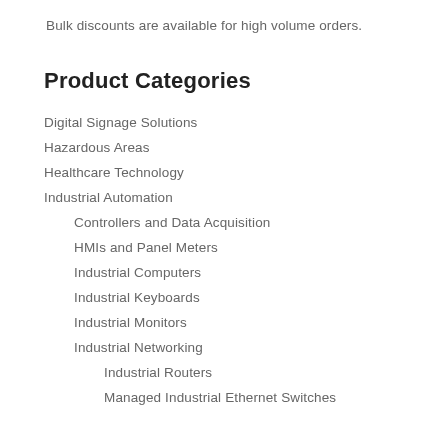Bulk discounts are available for high volume orders.
Product Categories
Digital Signage Solutions
Hazardous Areas
Healthcare Technology
Industrial Automation
Controllers and Data Acquisition
HMIs and Panel Meters
Industrial Computers
Industrial Keyboards
Industrial Monitors
Industrial Networking
Industrial Routers
Managed Industrial Ethernet Switches